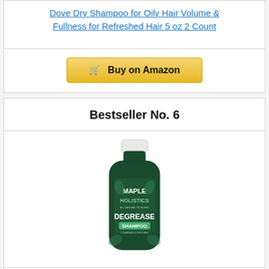Dove Dry Shampoo for Oily Hair Volume & Fullness for Refreshed Hair 5 oz 2 Count
[Figure (illustration): Buy on Amazon button with shopping cart icon]
Bestseller No. 6
[Figure (photo): Maple Holistics Degrease Shampoo bottle - dark green bottle with white cap]
Degrease Shampoo for Oily Hair Care - Clarifying Shampoo for Oily Hair and Oily